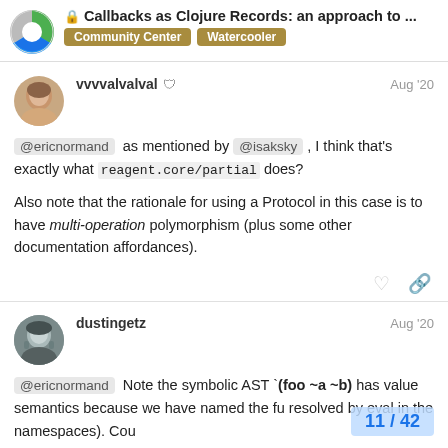🔒 Callbacks as Clojure Records: an approach to ... | Community Center | Watercooler
vvvvalvalval 🛡  Aug '20
@ericnormand as mentioned by @isaksky , I think that's exactly what reagent.core/partial does?

Also note that the rationale for using a Protocol in this case is to have multi-operation polymorphism (plus some other documentation affordances).
dustingetz  Aug '20
@ericnormand Note the symbolic AST `(foo ~a ~b) has value semantics because we have named the fu resolved by eval in the namespaces). Cou